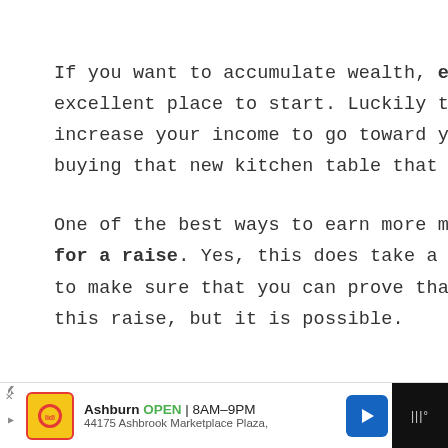If you want to accumulate wealth, earning more money is always an excellent place to start. Luckily there are plenty of ways for you to increase your income to go toward your savings, paying off your debt, or buying that new kitchen table that you love.
One of the best ways to earn more money is to a[sk] for a raise. Yes, this does take a little bit of work[48] to make sure that you can prove that you deser[ve] this raise, but it is possible.
[Figure (screenshot): Mobile UI screenshot showing scroll-up button (chevron up), heart/favorite button, and blue search button overlaid on text content]
[Figure (screenshot): Mobile advertisement bar at bottom: Lidl store ad showing Ashburn OPEN 8AM-9PM, 44175 Ashbrook Marketplace Plaza, with navigation arrow icon and dark panel on right]